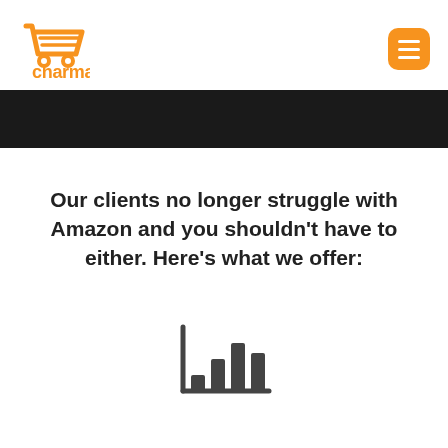[Figure (logo): Charmac logo: orange shopping cart icon with orange text 'charmac' below]
[Figure (other): Orange rounded square hamburger/menu button with three white horizontal lines]
[Figure (other): Dark/black full-width horizontal banner bar]
Our clients no longer struggle with Amazon and you shouldn't have to either. Here's what we offer:
[Figure (infographic): Dark grey bar chart icon with axis lines — a simple icon representing analytics/chart]